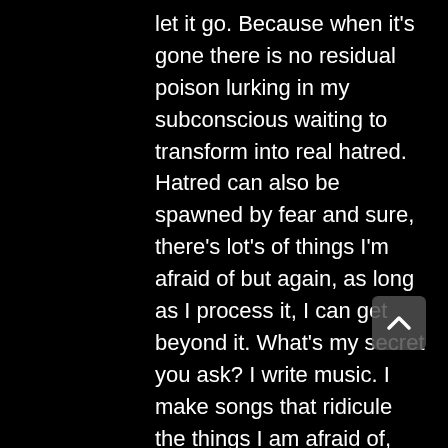let it go. Because when it's gone there is no residual poison lurking in my subconscious waiting to transform into real hatred. Hatred can also be spawned by fear and sure, there's lot's of things I'm afraid of but again, as long as I process it, I can get beyond it. What's my secret you ask? I write music. I make songs that ridicule the things I am afraid of, and the things that fuck me around. It works really good, I have a pile of self therapy songs, and I write new ones all the time. You should try it. It's really important if you want to be healthy and happy, you gotta loose the hatred. Don't even say the word."